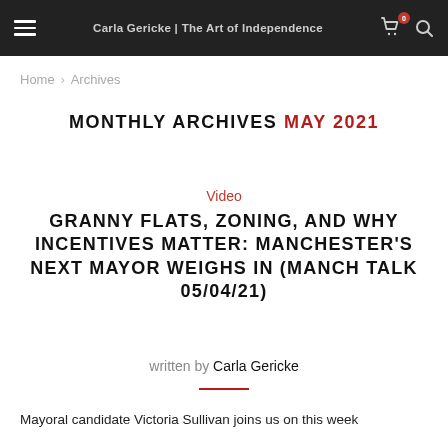Carla Gericke | The Art of Independence
Home > Archives
MONTHLY ARCHIVES MAY 2021
Video
GRANNY FLATS, ZONING, AND WHY INCENTIVES MATTER: MANCHESTER’S NEXT MAYOR WEIGHS IN (MANCH TALK 05/04/21)
written by Carla Gericke
Mayoral candidate Victoria Sullivan joins us on this week